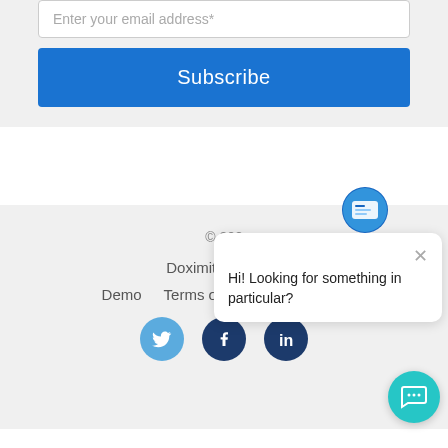Enter your email address*
Subscribe
© 202…
Doximity   Blog   Demo   Terms of Service   Privacy
[Figure (illustration): Chat popup with avatar icon and text: Hi! Looking for something in particular?]
[Figure (illustration): Social media icons: Twitter (light blue), Facebook (dark blue), LinkedIn (dark blue)]
[Figure (illustration): Teal chat widget button in bottom right corner]